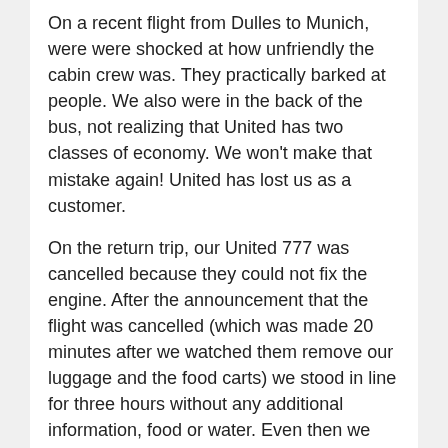On a recent flight from Dulles to Munich, were were shocked at how unfriendly the cabin crew was. They practically barked at people. We also were in the back of the bus, not realizing that United has two classes of economy. We won't make that mistake again! United has lost us as a customer.
On the return trip, our United 777 was cancelled because they could not fix the engine. After the announcement that the flight was cancelled (which was made 20 minutes after we watched them remove our luggage and the food carts) we stood in line for three hours without any additional information, food or water. Even then we were not settled until we went through customs to the departure center to get in a new line for a hotel. We were told the plane would fly at 10:30 AM the next day, but of course it didn't. We then stood in line for another hour and a half before being rerouted home.
There was no accommodation for senior citizens or families with small children. It was like they never experienced a cancellation before.
Posted by: Bill Miller | November 27, 2005 at